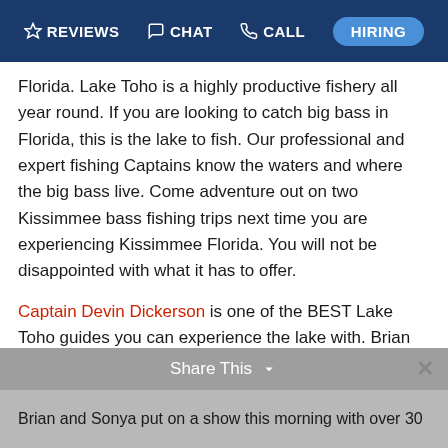REVIEWS  CHAT  CALL  HIRING
Florida. Lake Toho is a highly productive fishery all year round. If you are looking to catch big bass in Florida, this is the lake to fish. Our professional and expert fishing Captains know the waters and where the big bass live. Come adventure out on two Kissimmee bass fishing trips next time you are experiencing Kissimmee Florida. You will not be disappointed with what it has to offer.
Captain Devin Dickerson is one of the BEST Lake Toho guides you can experience the lake with. Brian and Sonya adventure out on a fantastic Lake Toho Bass Fishing trip with Captain Devin. This lake can produce on both wild-caught live shiners and artificial baits. If you are an angler that loves to fish artificial baits but also enjoys experiencing live bait, Lake Toho is your lake.
Share This  Brian and Sonya put on a show this morning with over 30